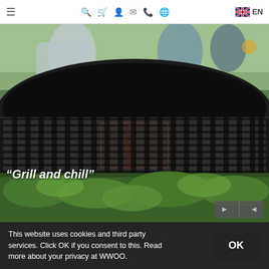≡  🔍  🛒  👤  ✉  📞  🌐  🇬🇧 EN
[Figure (photo): Close-up photo of a black BBQ grill grate with the Weber logo visible. In the background are people sitting outdoors in sunlight. Overlaid text reads: "Grill and chill". Navigation arrows (back/forward) are visible at the bottom right of the image.]
This website uses cookies and third party services. Click OK if you consent to this. Read more about your privacy at WWOO.